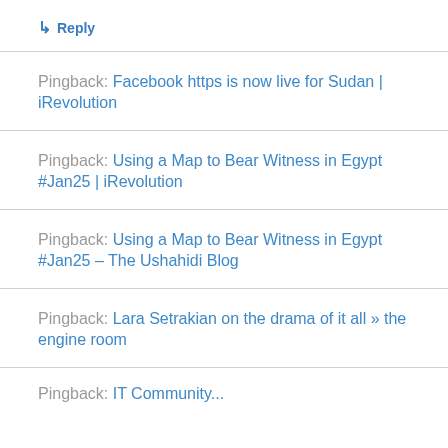↳ Reply
Pingback: Facebook https is now live for Sudan | iRevolution
Pingback: Using a Map to Bear Witness in Egypt #Jan25 | iRevolution
Pingback: Using a Map to Bear Witness in Egypt #Jan25 – The Ushahidi Blog
Pingback: Lara Setrakian on the drama of it all » the engine room
Pingback: IT Community...